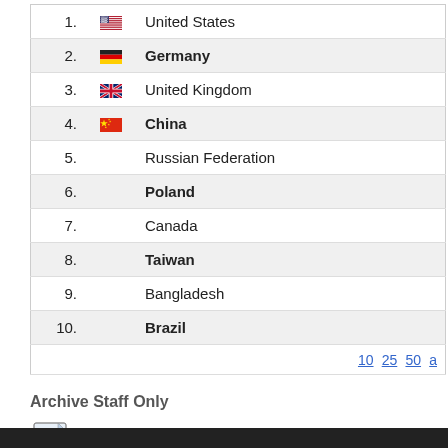1. United States
2. Germany
3. United Kingdom
4. China
5. Russian Federation
6. Poland
7. Canada
8. Taiwan
9. Bangladesh
10. Brazil
10 25 50 a
Archive Staff Only
View Item